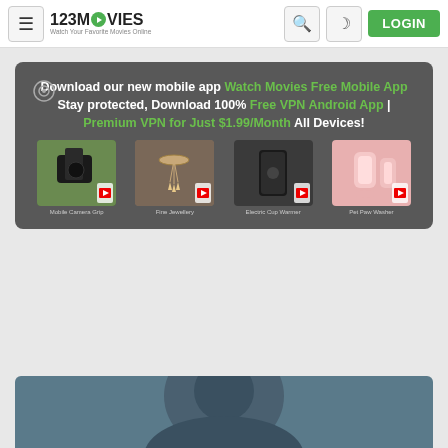123MOVIES — Watch Your Favorite Movies Online | LOGIN
Download our new mobile app Watch Movies Free Mobile App Stay protected, Download 100% Free VPN Android App | Premium VPN for Just $1.99/Month All Devices!
[Figure (screenshot): Four product images: Mobile Camera Grip, Fine Jewellery, Electric Cup Warmer, Pet Paw Washer]
[Figure (photo): Partial view of a person's face/head — video thumbnail at bottom of page]